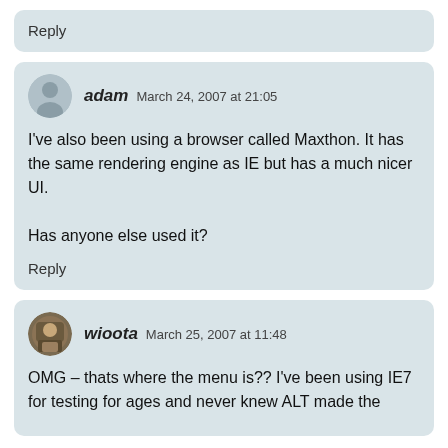Reply
adam  March 24, 2007 at 21:05
I've also been using a browser called Maxthon. It has the same rendering engine as IE but has a much nicer UI.

Has anyone else used it?
Reply
wioota  March 25, 2007 at 11:48
OMG – thats where the menu is?? I've been using IE7 for testing for ages and never knew ALT made the